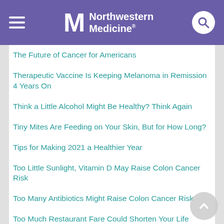Northwestern Medicine
The Future of Cancer for Americans
Therapeutic Vaccine Is Keeping Melanoma in Remission 4 Years On
Think a Little Alcohol Might Be Healthy? Think Again
Tiny Mites Are Feeding on Your Skin, But for How Long?
Tips for Making 2021 a Healthier Year
Too Little Sunlight, Vitamin D May Raise Colon Cancer Risk
Too Many Antibiotics Might Raise Colon Cancer Risk
Too Much Restaurant Fare Could Shorten Your Life